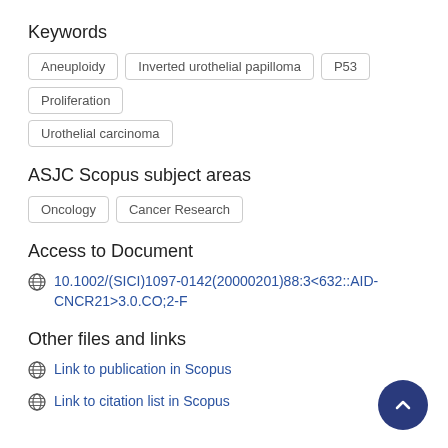Keywords
Aneuploidy
Inverted urothelial papilloma
P53
Proliferation
Urothelial carcinoma
ASJC Scopus subject areas
Oncology
Cancer Research
Access to Document
10.1002/(SICI)1097-0142(20000201)88:3<632::AID-CNCR21>3.0.CO;2-F
Other files and links
Link to publication in Scopus
Link to citation list in Scopus